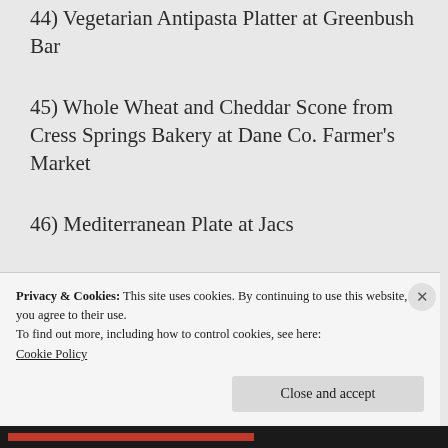44) Vegetarian Antipasta Platter at Greenbush Bar
45) Whole Wheat and Cheddar Scone from Cress Springs Bakery at Dane Co. Farmer's Market
46) Mediterranean Plate at Jacs
47) Red Beans and Rice at New Orleans Take-Out
Privacy & Cookies: This site uses cookies. By continuing to use this website, you agree to their use. To find out more, including how to control cookies, see here: Cookie Policy
Close and accept